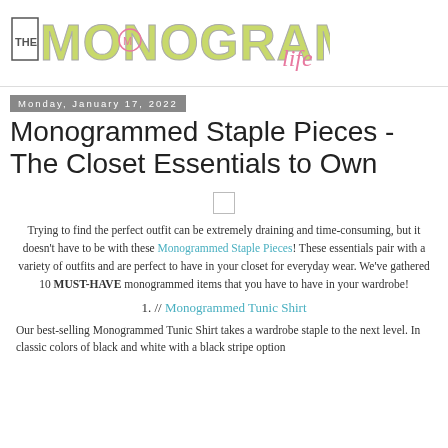[Figure (logo): The Monogrammed Life logo with stylized text and monogram icon]
Monday, January 17, 2022
Monogrammed Staple Pieces - The Closet Essentials to Own
[Figure (other): Small image placeholder (loading indicator)]
Trying to find the perfect outfit can be extremely draining and time-consuming, but it doesn't have to be with these Monogrammed Staple Pieces! These essentials pair with a variety of outfits and are perfect to have in your closet for everyday wear. We've gathered 10 MUST-HAVE monogrammed items that you have to have in your wardrobe!
1. // Monogrammed Tunic Shirt
Our best-selling Monogrammed Tunic Shirt takes a wardrobe staple to the next level. In classic colors of black and white with a black stripe option